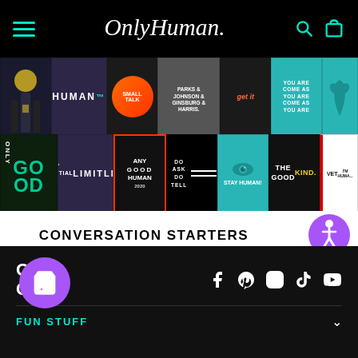Only Human — navigation bar with hamburger menu, logo, search and cart icons
[Figure (photo): Grid of product/design thumbnail images in two rows showing various Only Human branded designs including 'HUMAN', 'SMALL TALK', 'Parks & Johnson & Ginsburg & Harris', 'GO OD', 'MY POTENTIAL IS LIMITLESS', 'ANY GOOD HUMAN 2020', 'DO ASK DO TELL', 'STAY HUMAN!', 'THE GOOD KIND', 'YOU ARE COME AS YOU ARE']
CONVERSATION STARTERS
Our gear is designed to spark real-life conversations.
OH C — social media icons: Facebook, Pinterest, Instagram, TikTok, YouTube — FUN STUFF